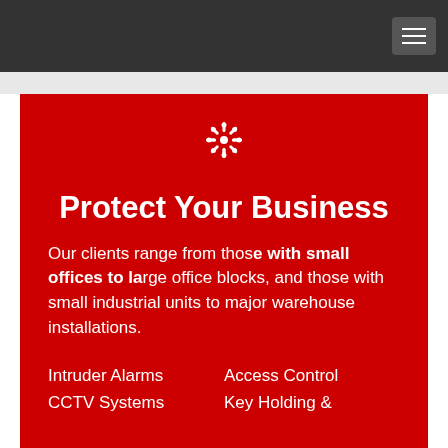Navigation bar with hamburger menu
Protect Your Business
Our clients range from those with small offices to large office blocks, and those with small industrial units to major warehouse installations.
Intruder Alarms
Access Control
CCTV Systems
Key Holding &